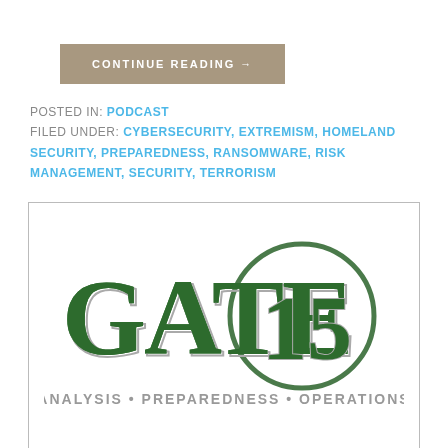CONTINUE READING →
POSTED IN: PODCAST
FILED UNDER: CYBERSECURITY, EXTREMISM, HOMELAND SECURITY, PREPAREDNESS, RANSOMWARE, RISK MANAGEMENT, SECURITY, TERRORISM
[Figure (logo): Gate 15 logo — large green bold text 'GATE 15' with '15' inside a green circle outline, tagline 'ANALYSIS • PREPAREDNESS • OPERATIONS' in grey below]